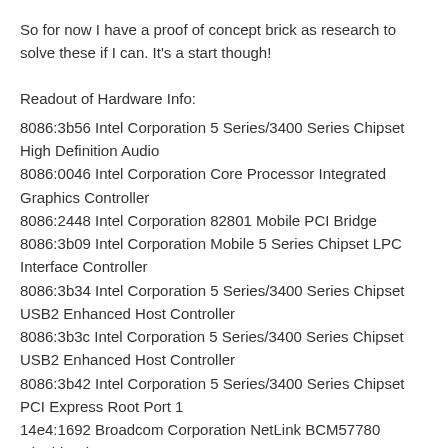So for now I have a proof of concept brick as research to solve these if I can. It's a start though!
Readout of Hardware Info:
8086:3b56 Intel Corporation 5 Series/3400 Series Chipset High Definition Audio
8086:0046 Intel Corporation Core Processor Integrated Graphics Controller
8086:2448 Intel Corporation 82801 Mobile PCI Bridge
8086:3b09 Intel Corporation Mobile 5 Series Chipset LPC Interface Controller
8086:3b34 Intel Corporation 5 Series/3400 Series Chipset USB2 Enhanced Host Controller
8086:3b3c Intel Corporation 5 Series/3400 Series Chipset USB2 Enhanced Host Controller
8086:3b42 Intel Corporation 5 Series/3400 Series Chipset PCI Express Root Port 1
14e4:1692 Broadcom Corporation NetLink BCM57780 Gigabit Ethernet PCIe
8086:3b44 Intel Corporation 5 Series/3400 Series Chipset